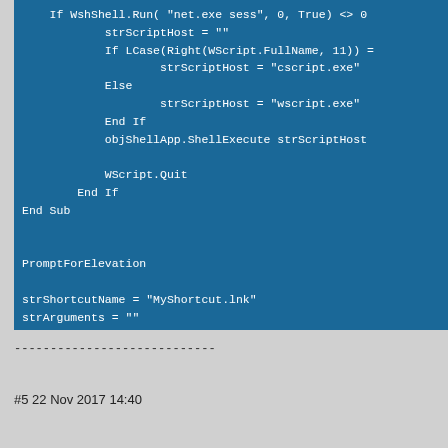[Figure (screenshot): Code block with blue background showing VBScript code snippet including strScriptHost assignments, WScript.Quit, End Sub, PromptForElevation call, and variable assignments for shortcut creation.]
----------------------------
#5 22 Nov 2017 14:40